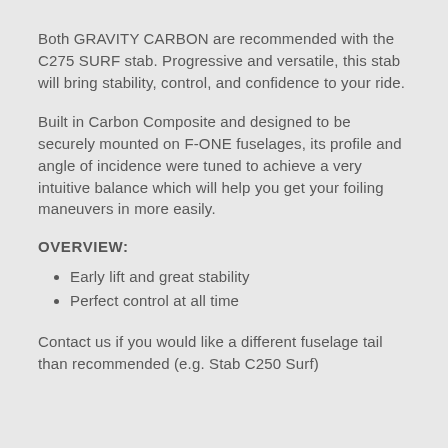Both GRAVITY CARBON are recommended with the C275 SURF stab. Progressive and versatile, this stab will bring stability, control, and confidence to your ride.
Built in Carbon Composite and designed to be securely mounted on F-ONE fuselages, its profile and angle of incidence were tuned to achieve a very intuitive balance which will help you get your foiling maneuvers in more easily.
OVERVIEW:
Early lift and great stability
Perfect control at all time
Contact us if you would like a different fuselage tail than recommended (e.g. Stab C250 Surf)